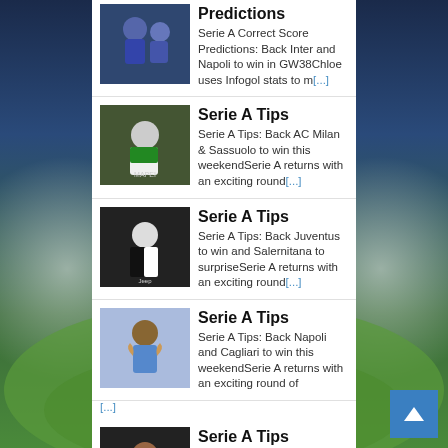Predictions — Serie A Correct Score Predictions: Back Inter and Napoli to win in GW38Chloe uses Infogol stats to m[...]
Serie A Tips — Serie A Tips: Back AC Milan & Sassuolo to win this weekendSerie A returns with an exciting round[...]
Serie A Tips — Serie A Tips: Back Juventus to win and Salernitana to surpriseSerie A returns with an exciting round[...]
Serie A Tips — Serie A Tips: Back Napoli and Cagliari to win this weekendSerie A returns with an exciting round of [...]
Serie A Tips — Serie A Tips: Back Inter